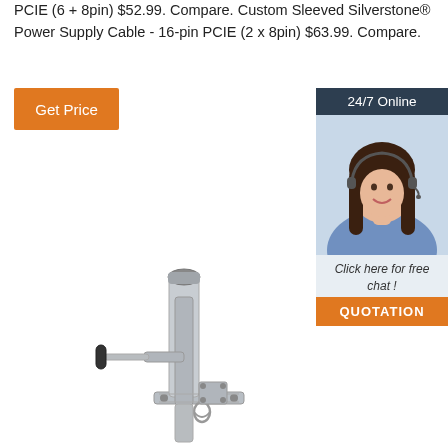PCIE (6 + 8pin) $52.99. Compare. Custom Sleeved Silverstone® Power Supply Cable - 16-pin PCIE (2 x 8pin) $63.99. Compare.
[Figure (other): Orange 'Get Price' button]
[Figure (photo): 24/7 Online chat support advertisement with woman wearing headset, 'Click here for free chat!' text, and 'QUOTATION' button]
[Figure (photo): Silver/metallic trailer jack or leveling jack mechanical device with hand crank]